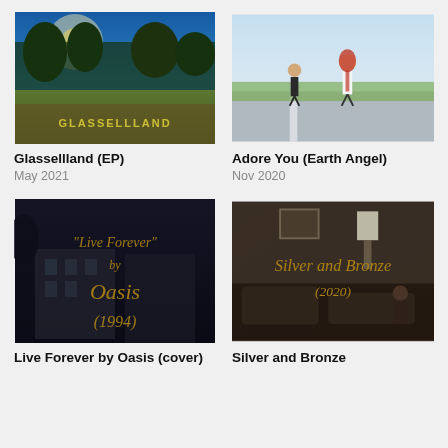[Figure (photo): Album cover for Glassellland (EP) — outdoor scene with text 'GLASSELLLAND' on a hill, trees and blue sky]
Glassellland (EP)
May 2021
[Figure (photo): Cover for Adore You (Earth Angel) — people roller skating on a path outdoors]
Adore You (Earth Angel)
Nov 2020
[Figure (photo): Cover for Live Forever by Oasis (cover) — dark blurry building with cursive gold text reading "Live Forever" by Oasis (1994)]
[Figure (photo): Cover for Silver and Bronze — indoor room scene with cursive gold text reading Silver and Bronze (2020)]
Live Forever by Oasis (cover)
Silver and Bronze